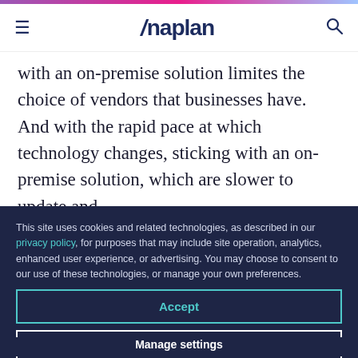Anaplan — Navigation header with hamburger menu and search icon
with an on-premise solution limites the choice of vendors that businesses have. And with the rapid pace at which technology changes, sticking with an on-premise solution, which are slower to update and
This site uses cookies and related technologies, as described in our privacy policy, for purposes that may include site operation, analytics, enhanced user experience, or advertising. You may choose to consent to our use of these technologies, or manage your own preferences.
Accept
Decline
Manage settings